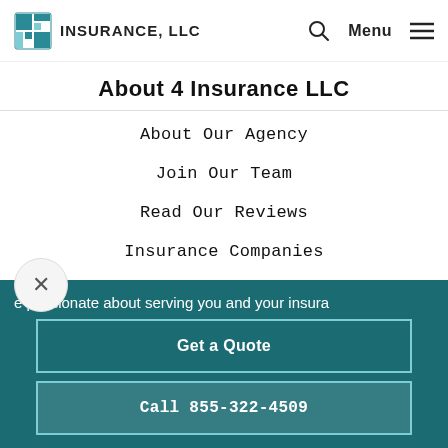4 INSURANCE, LLC  Menu
About 4 Insurance LLC
About Our Agency
Join Our Team
Read Our Reviews
Insurance Companies
We Are Independent
Get Help
e passionate about serving you and your insura
Get a Quote
Call 855-322-4509